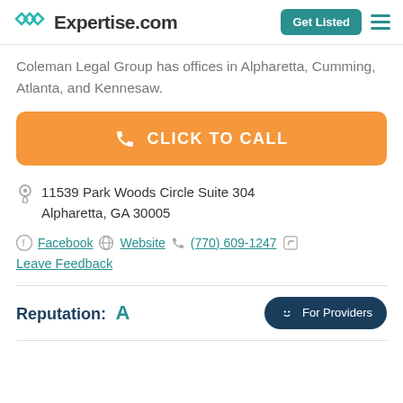Expertise.com | Get Listed
Coleman Legal Group has offices in Alpharetta, Cumming, Atlanta, and Kennesaw.
CLICK TO CALL
11539 Park Woods Circle Suite 304 Alpharetta, GA 30005
Facebook | Website | (770) 609-1247 | Leave Feedback
Reputation: A
For Providers